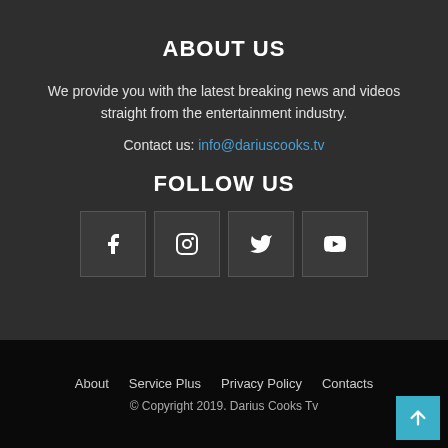ABOUT US
We provide you with the latest breaking news and videos straight from the entertainment industry.
Contact us: info@dariuscooks.tv
FOLLOW US
[Figure (infographic): Four social media icon boxes: Facebook (f), Instagram (camera), Twitter (bird), YouTube (play button)]
About   Service Plus   Privacy Policy   Contacts
© Copyright 2019. Darius Cooks Tv